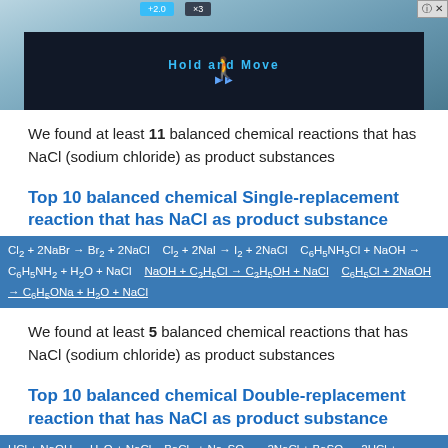[Figure (screenshot): Advertisement banner with dark background showing 'Hold and Move' text and nature scene]
We found at least 11 balanced chemical reactions that has NaCl (sodium chloride) as product substances
Top 10 balanced chemical Single-replacement reaction that has NaCl as product substance
Cl2 + 2NaBr → Br2 + 2NaCl   Cl2 + 2NaI → I2 + 2NaCl   C6H5NH3Cl + NaOH → C6H5NH2 + H2O + NaCl   NaOH + C2H5Cl → C2H5OH + NaCl   C6H5Cl + 2NaOH → C6H5ONa + H2O + NaCl
We found at least 5 balanced chemical reactions that has NaCl (sodium chloride) as product substances
Top 10 balanced chemical Double-replacement reaction that has NaCl as product substance
HCl + NaOH → H2O + NaCl   BaCl2 + Na2SO4 → 2NaCl + BaSO4   2HCl + Na2CO3 → H2O + 2NaCl + CO2   HCl + NaHCO3 → H2O + NaCl + CO2   Fe...